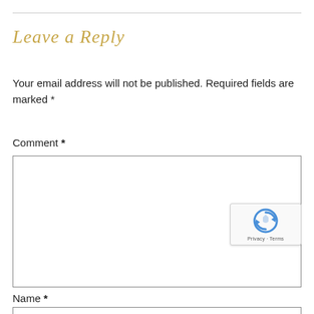Leave a Reply
Your email address will not be published. Required fields are marked *
Comment *
[Figure (screenshot): Empty comment textarea input box with border]
[Figure (other): reCAPTCHA badge with Privacy - Terms text]
Name *
[Figure (screenshot): Empty name text input box with border]